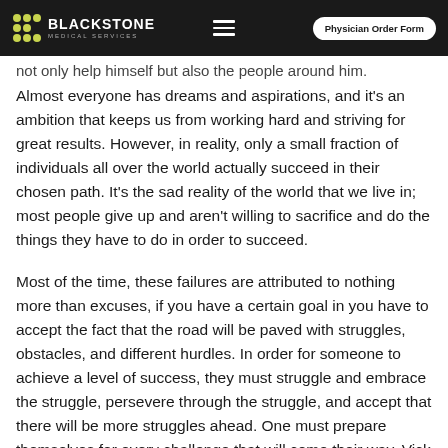BLACKSTONE MEDICAL SERVICES | Physician Order Form
not only help himself but also the people around him.
Almost everyone has dreams and aspirations, and it’s an ambition that keeps us from working hard and striving for great results. However, in reality, only a small fraction of individuals all over the world actually succeed in their chosen path. It’s the sad reality of the world that we live in; most people give up and aren’t willing to sacrifice and do the things they have to do in order to succeed.
Most of the time, these failures are attributed to nothing more than excuses, if you have a certain goal in you have to accept the fact that the road will be paved with struggles, obstacles, and different hurdles. In order for someone to achieve a level of success, they must struggle and embrace the struggle, persevere through the struggle, and accept that there will be more struggles ahead. One must prepare themselves for every challenge that will come their way, Vick realized this and has